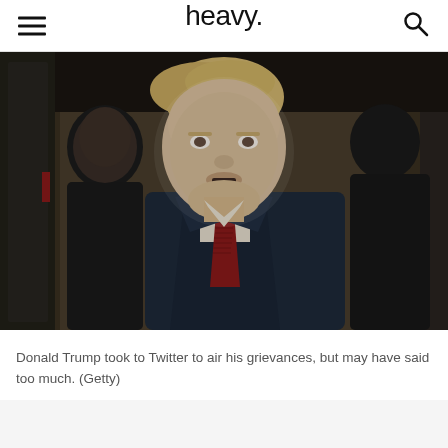heavy.
[Figure (photo): Donald Trump speaking in what appears to be Trump Tower lobby, wearing a dark suit and red tie, with security personnel visible behind him.]
Donald Trump took to Twitter to air his grievances, but may have said too much. (Getty)